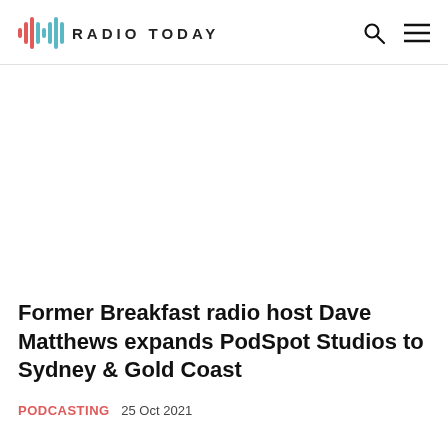RADIO TODAY
Former Breakfast radio host Dave Matthews expands PodSpot Studios to Sydney & Gold Coast
PODCASTING  25 Oct 2021